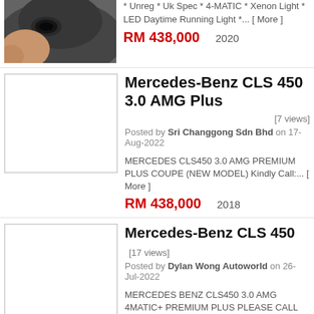[Figure (photo): Partial car photo showing a close-up of a dark vehicle (top of page, cropped)]
* Unreg * Uk Spec * 4-MATIC * Xenon Light * LED Daytime Running Light *... [ More ]
RM 438,000    2020
[Figure (photo): White placeholder thumbnail for Mercedes-Benz CLS 450 3.0 AMG Plus listing]
Mercedes-Benz CLS 450 3.0 AMG Plus
[7 views]
Posted by Sri Changgong Sdn Bhd on 17-Aug-2022
MERCEDES CLS450 3.0 AMG PREMIUM PLUS COUPE (NEW MODEL) Kindly Call:... [ More ]
RM 438,000    2018
[Figure (photo): White placeholder thumbnail for Mercedes-Benz CLS 450 listing]
Mercedes-Benz CLS 450
[17 views]
Posted by Dylan Wong Autoworld on 26-Jul-2022
MERCEDES BENZ CLS450 3.0 AMG 4MATIC+ PREMIUM PLUS PLEASE CALL FOR THE... [ More ]
RM 438,000    2018